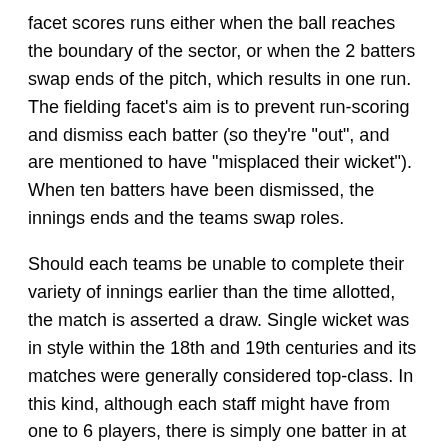facet scores runs either when the ball reaches the boundary of the sector, or when the 2 batters swap ends of the pitch, which results in one run. The fielding facet's aim is to prevent run-scoring and dismiss each batter (so they're "out", and are mentioned to have "misplaced their wicket"). When ten batters have been dismissed, the innings ends and the teams swap roles.
Should each teams be unable to complete their variety of innings earlier than the time allotted, the match is asserted a draw. Single wicket was in style within the 18th and 19th centuries and its matches were generally considered top-class. In this kind, although each staff might have from one to 6 players, there is simply one batter in at a time and he should face every supply bowled while his innings lasts. Single wicket has rarely been performed since restricted overs cricket began. Matches tended to have two innings per group like a full first-class one they usually might end in a draw. While the umpire in shot stands at the bowler's end of the pitch, his colleague stands within the outfield, usually in or close to the